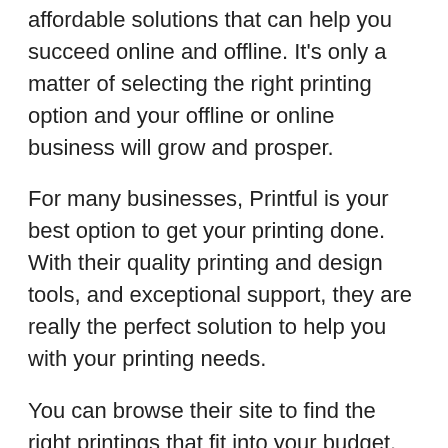affordable solutions that can help you succeed online and offline. It's only a matter of selecting the right printing option and your offline or online business will grow and prosper.
For many businesses, Printful is your best option to get your printing done. With their quality printing and design tools, and exceptional support, they are really the perfect solution to help you with your printing needs.
You can browse their site to find the right printings that fit into your budget. You can also get your printing done with your own inkjet printer or laser printer. Additionally, there are some templates available for free, but if you want your printing done by hand or by a